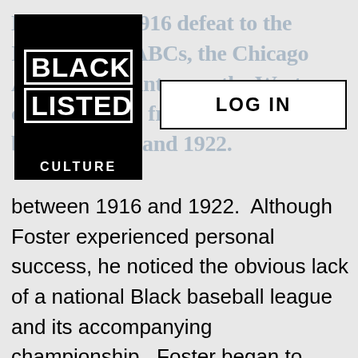Excluding a 1916 defeat to the Indianapolis ABCs, the Chicago American Giants won the Western championship from all seasons between 1916 and 1922.
[Figure (logo): Black Listed Culture logo: black square with 'BLACK' and 'LISTED' in white block letters with white borders, 'CULTURE' in white below]
[Figure (screenshot): LOG IN button — white rectangle with black border and bold text 'LOG IN']
between 1916 and 1922.  Although Foster experienced personal success, he noticed the obvious lack of a national Black baseball league and its accompanying championship.  Foster began to initiate talks with other Black baseball club owners to ascertain how best to advance Black baseball but they were unable to collaborate.